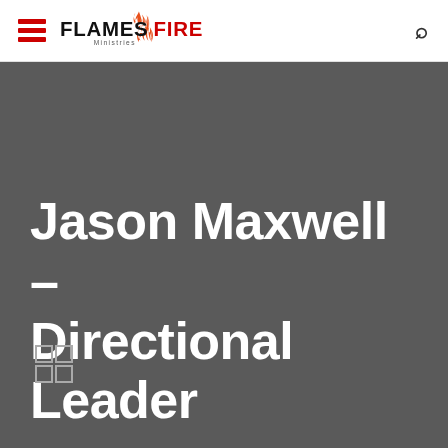Flames2Fire Ministries
Jason Maxwell – Directional Leader
[Figure (other): 2x2 grid icon (four small squares) in the lower left of the dark hero section]